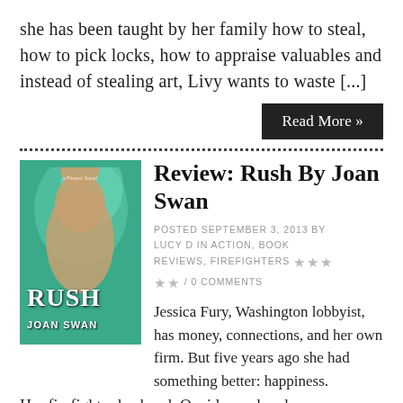she has been taught by her family how to steal, how to pick locks, how to appraise valuables and instead of stealing art, Livy wants to waste [...]
Read More »
[Figure (photo): Book cover of 'Rush' by Joan Swan — shirtless male figure against teal/green background]
Review: Rush By Joan Swan
POSTED SEPTEMBER 3, 2013 BY LUCY D IN ACTION, BOOK REVIEWS, FIREFIGHTERS ★★★★★ / 0 COMMENTS
Jessica Fury, Washington lobbyist, has money, connections, and her own firm. But five years ago she had something better: happiness.
Her firefighter husband, Quaid, was handsome, courageous, and crazy about her. Then one day he